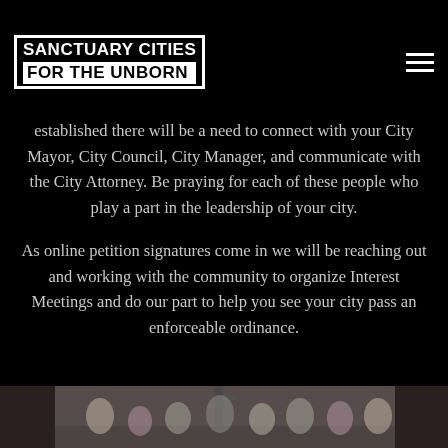SANCTUARY CITIES FOR THE UNBORN
established there will be a need to connect with your City Mayor, City Council, City Manager, and communicate with the City Attorney. Be praying for each of these people who play a part in the leadership of your city.
As online petition signatures come in we will be reaching out and working with the community to organize Interest Meetings and do our part to help you see your city pass an enforceable ordinance.
[Figure (photo): Group photo of people standing together indoors, partially visible at bottom of page]